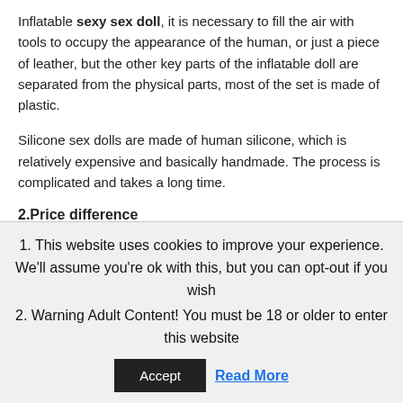Inflatable sexy sex doll, it is necessary to fill the air with tools to occupy the appearance of the human, or just a piece of leather, but the other key parts of the inflatable doll are separated from the physical parts, most of the set is made of plastic.
Silicone sex dolls are made of human silicone, which is relatively expensive and basically handmade. The process is complicated and takes a long time.
2.Price difference
The inflatable sex doll use the material basic is the plastic, the work is simple, may the batch processing production, the
1. This website uses cookies to improve your experience. We'll assume you're ok with this, but you can opt-out if you wish
2. Warning Adult Content! You must be 18 or older to enter this website